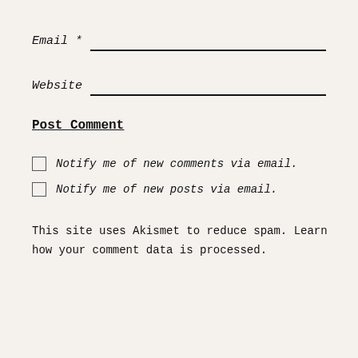Email *
Website
Post Comment
Notify me of new comments via email.
Notify me of new posts via email.
This site uses Akismet to reduce spam. Learn how your comment data is processed.
Advertisements